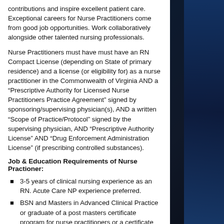contributions and inspire excellent patient care. Exceptional careers for Nurse Practitioners come from good job opportunities. Work collaboratively alongside other talented nursing professionals.
Nurse Practitioners must have must have an RN Compact License (depending on State of primary residence) and a license (or eligibility for) as a nurse practitioner in the Commonwealth of Virginia AND a “Prescriptive Authority for Licensed Nurse Practitioners Practice Agreement” signed by sponsoring/supervising physician(s), AND a written “Scope of Practice/Protocol” signed by the supervising physician, AND “Prescriptive Authority License” AND “Drug Enforcement Administration License” (if prescribing controlled substances).
Job & Education Requirements of Nurse Practioner:
3-5 years of clinical nursing experience as an RN. Acute Care NP experience preferred.
BSN and Masters in Advanced Clinical Practice or graduate of a post masters certificate program for nurse practitioners or a certificate from and education program that is accredited by the Counsel of Nurse Anesthesia